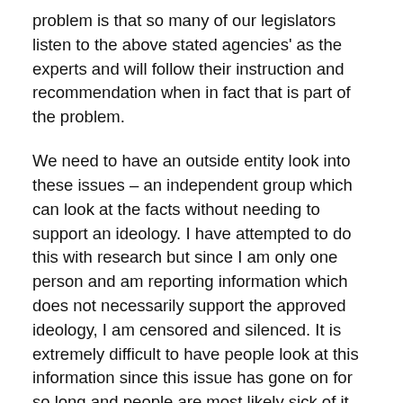problem is that so many of our legislators listen to the above stated agencies' as the experts and will follow their instruction and recommendation when in fact that is part of the problem.
We need to have an outside entity look into these issues – an independent group which can look at the facts without needing to support an ideology. I have attempted to do this with research but since I am only one person and am reporting information which does not necessarily support the approved ideology, I am censored and silenced. It is extremely difficult to have people look at this information since this issue has gone on for so long and people are most likely sick of it being repeated.
I can tell you from looking at this issue without the ideology one will see a very different picture than the